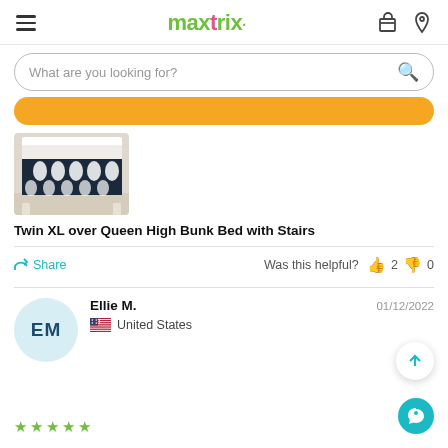maxtrix
What are you looking for?
[Figure (photo): Partially visible orange button strip]
[Figure (photo): Bunk bed product photo showing navy blue and white patterned bedding on a bunk bed with white frame]
Twin XL over Queen High Bunk Bed with Stairs
Share   Was this helpful?  👍 2  👎 0
Ellie M.   01/12/2022   United States
[Figure (illustration): User avatar circle with initials EM in dark blue on light blue background]
01/12/2022
United States